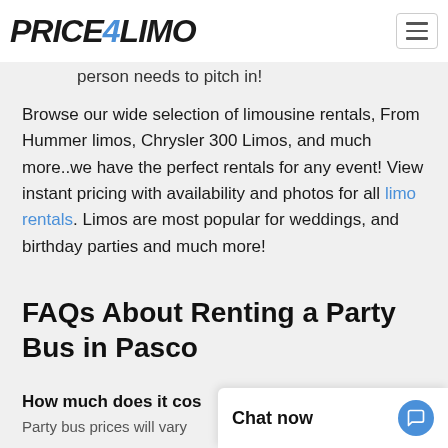PRICE4LIMO
person needs to pitch in!
Browse our wide selection of limousine rentals, From Hummer limos, Chrysler 300 Limos, and much more..we have the perfect rentals for any event! View instant pricing with availability and photos for all limo rentals. Limos are most popular for weddings, and birthday parties and much more!
FAQs About Renting a Party Bus in Pasco
How much does it cost to rent a bus in Pasco?
Party bus prices will vary...